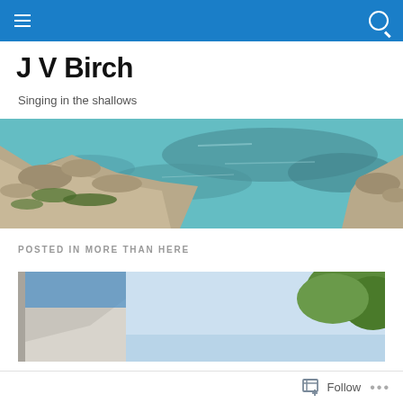Navigation bar with menu and search icons
J V Birch
Singing in the shallows
[Figure (photo): Coastal scene with turquoise clear water, rocky limestone shoreline with low green vegetation, shallow reef visible beneath the water surface]
POSTED IN MORE THAN HERE
[Figure (photo): Partial view of a building with blue sky and green tree foliage in top right corner]
Follow   ...